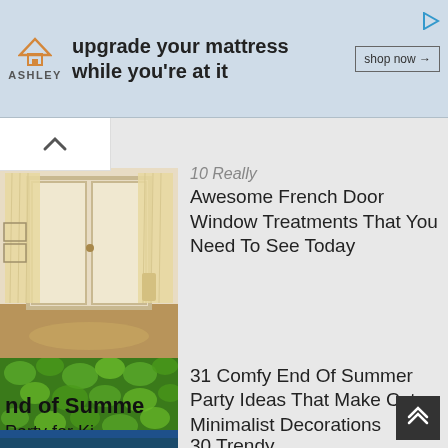[Figure (screenshot): Ashley Furniture advertisement banner: house logo, 'upgrade your mattress while you're at it' text, 'shop now' button]
[Figure (photo): Photo of French door with sheer curtain window treatments]
Awesome French Door Window Treatments That You Need To See Today
[Figure (photo): Green leafy background with text 'nd of Summer Party for Ki' overlay]
31 Comfy End Of Summer Party Ideas That Make Cute Minimalist Decorations
[Figure (photo): Blue sky and dark landscape photo, partially visible]
30 Trendy